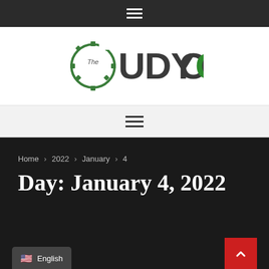Navigation menu (hamburger icon, dark bar)
[Figure (logo): The Udyog logo — a gear icon on the left with 'The' inside it, followed by 'UDYOG' in large bold letters, 'U', 'D', 'Y', 'O' in dark gray and 'G' in green]
Navigation menu (hamburger icon, light gray bar)
Home > 2022 > January > 4
Day: January 4, 2022